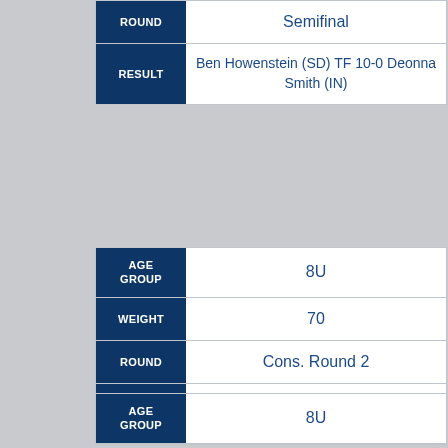| Field | Value |
| --- | --- |
| ROUND | Semifinal |
| RESULT | Ben Howenstein (SD) TF 10-0 Deonna Smith (IN) |
| Field | Value |
| --- | --- |
| AGE GROUP | 8U |
| WEIGHT | 70 |
| ROUND | Cons. Round 2 |
| RESULT | Paxton Turner (IN) TF 16-6 Brian Flynn (MD) |
| Field | Value |
| --- | --- |
| AGE GROUP | 8U |